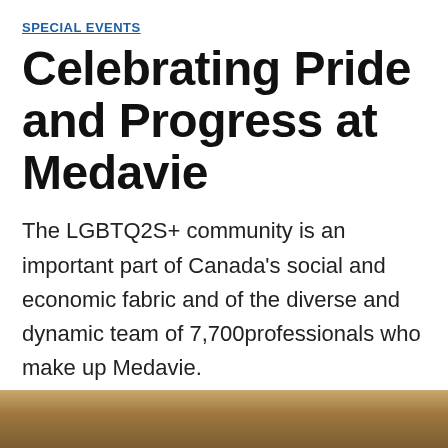SPECIAL EVENTS
Celebrating Pride and Progress at Medavie
The LGBTQ2S+ community is an important part of Canada's social and economic fabric and of the diverse and dynamic team of 7,700professionals who make up Medavie.
[Figure (photo): Partial photo of a person visible at the bottom of the page, appears to be at an event]